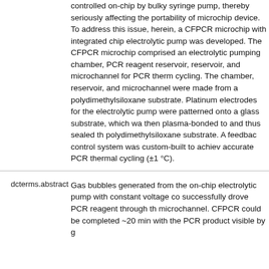controlled on-chip by bulky syringe pump, thereby seriously affecting the portability of microchip device. To address this issue, herein, a CFPCR microchip with integrated chip electrolytic pump was developed. The CFPCR microchip comprised an electrolytic pumping chamber, PCR reagent reservoir, reservoir, and microchannel for PCR thermal cycling. The chamber, reservoir, and microchannel were made from a polydimethylsiloxane substrate. Platinum electrodes for the electrolytic pump were patterned onto a glass substrate, which was then plasma-bonded to and thus sealed the polydimethylsiloxane substrate. A feedback control system was custom-built to achieve accurate PCR thermal cycling (±1 °C).
dcterms.abstract
Gas bubbles generated from the on-chip electrolytic pump with constant voltage control successfully drove PCR reagent through the microchannel. CFPCR could be completed in ~20 min with the PCR product visible by gel